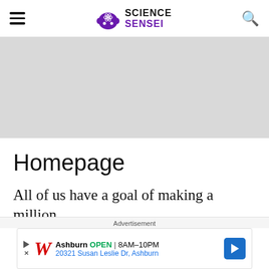Science Sensei — site header with navigation menu icon, logo, and search icon
[Figure (other): Gray placeholder banner/advertisement area]
Homepage
All of us have a goal of making a million
Advertisement
[Figure (other): Walgreens advertisement: Ashburn OPEN 8AM–10PM, 20321 Susan Leslie Dr, Ashburn]